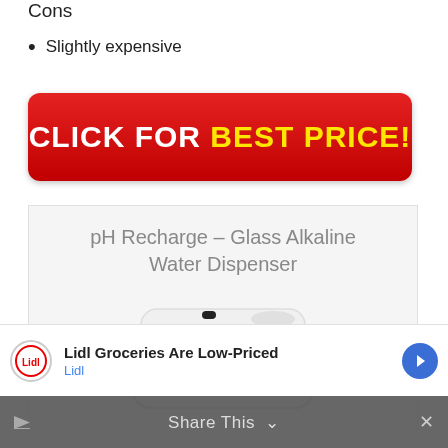Cons
Slightly expensive
[Figure (other): Red button with text CLICK FOR BEST PRICE!]
[Figure (other): pH Recharge – Glass Alkaline Water Dispenser product image in a light grey box]
Lidl Groceries Are Low-Priced
Lidl
Share This